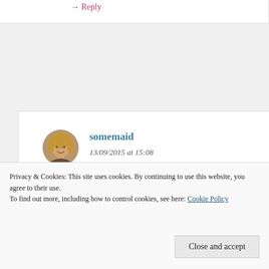→ Reply
[Figure (photo): Avatar photo of user 'somemaid', a woman with blonde hair, circular crop]
somemaid
13/09/2015 at 15:08
Privacy & Cookies: This site uses cookies. By continuing to use this website, you agree to their use. To find out more, including how to control cookies, see here: Cookie Policy
Close and accept
weekly schedule and look forward to